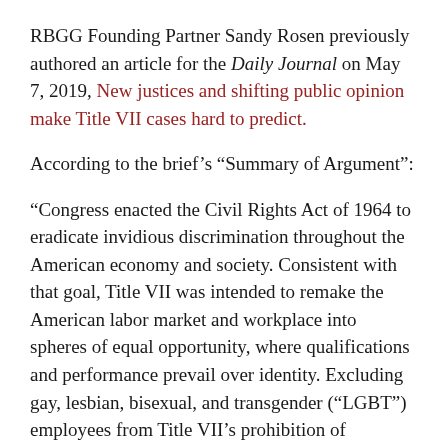RBGG Founding Partner Sandy Rosen previously authored an article for the Daily Journal on May 7, 2019, New justices and shifting public opinion make Title VII cases hard to predict.
According to the brief's “Summary of Argument”:
“Congress enacted the Civil Rights Act of 1964 to eradicate invidious discrimination throughout the American economy and society. Consistent with that goal, Title VII was intended to remake the American labor market and workplace into spheres of equal opportunity, where qualifications and performance prevail over identity. Excluding gay, lesbian, bisexual, and transgender (“LGBT”) employees from Title VII’s prohibition of